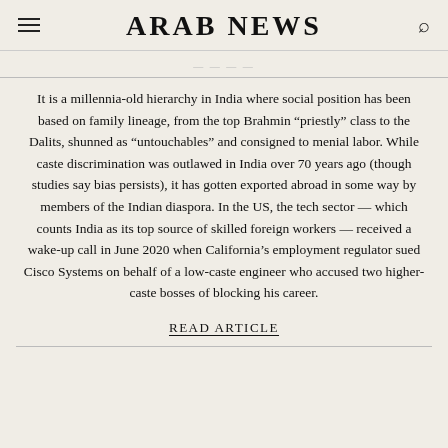ARAB NEWS
It is a millennia-old hierarchy in India where social position has been based on family lineage, from the top Brahmin “priestly” class to the Dalits, shunned as “untouchables” and consigned to menial labor. While caste discrimination was outlawed in India over 70 years ago (though studies say bias persists), it has gotten exported abroad in some way by members of the Indian diaspora. In the US, the tech sector — which counts India as its top source of skilled foreign workers — received a wake-up call in June 2020 when California’s employment regulator sued Cisco Systems on behalf of a low-caste engineer who accused two higher-caste bosses of blocking his career.
READ ARTICLE